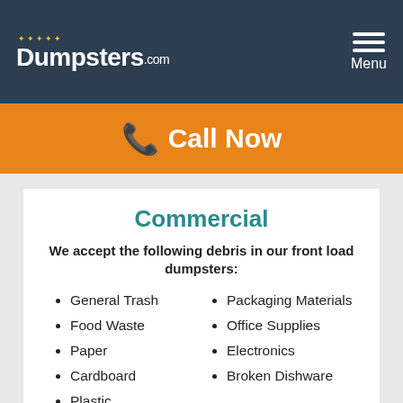Dumpsters.com — Menu
Call Now
Commercial
We accept the following debris in our front load dumpsters:
General Trash
Food Waste
Paper
Cardboard
Plastic
Packaging Materials
Office Supplies
Electronics
Broken Dishware